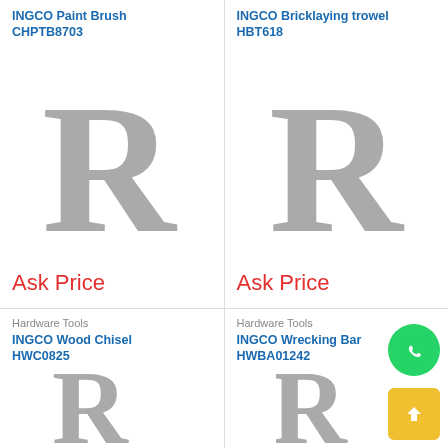INGCO Paint Brush CHPTB8703
[Figure (other): Placeholder image with large grey letter R for INGCO Paint Brush CHPTB8703]
Ask Price
INGCO Bricklaying trowel HBT618
[Figure (other): Placeholder image with large grey letter R for INGCO Bricklaying trowel HBT618]
Ask Price
Hardware Tools
INGCO Wood Chisel HWC0825
[Figure (other): Placeholder image with large grey letter R for INGCO Wood Chisel HWC0825]
Hardware Tools
INGCO Wrecking Bar HWBA01242
[Figure (other): Placeholder image with large grey letter R for INGCO Wrecking Bar HWBA01242]